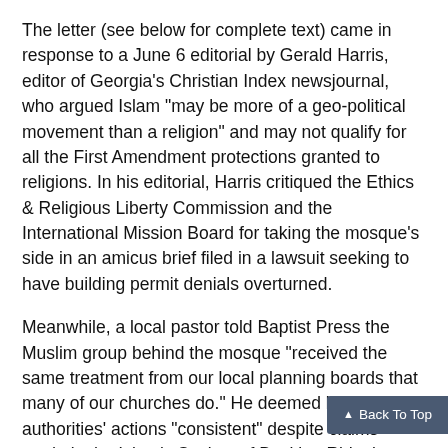The letter (see below for complete text) came in response to a June 6 editorial by Gerald Harris, editor of Georgia's Christian Index newsjournal, who argued Islam "may be more of a geo-political movement than a religion" and may not qualify for all the First Amendment protections granted to religions. In his editorial, Harris critiqued the Ethics & Religious Liberty Commission and the International Mission Board for taking the mosque's side in an amicus brief filed in a lawsuit seeking to have building permit denials overturned.
Meanwhile, a local pastor told Baptist Press the Muslim group behind the mosque "received the same treatment from our local planning boards that many of our churches do." He deemed local authorities' actions "consistent" despite claims made in the Islamic Society of Basking Ridge's lawsuit.
The ‘first freedom’
Duesing, White and Yarnell, editors of "First Fre...